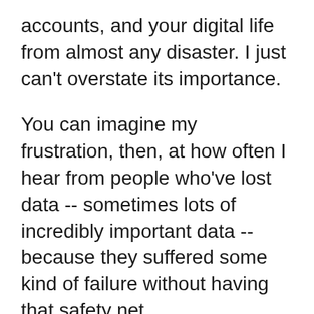accounts, and your digital life from almost any disaster. I just can't overstate its importance.
You can imagine my frustration, then, at how often I hear from people who've lost data -- sometimes lots of incredibly important data -- because they suffered some kind of failure without having that safety net.
This week's featured article goes into more detail and includes a couple of examples.
Also this week: